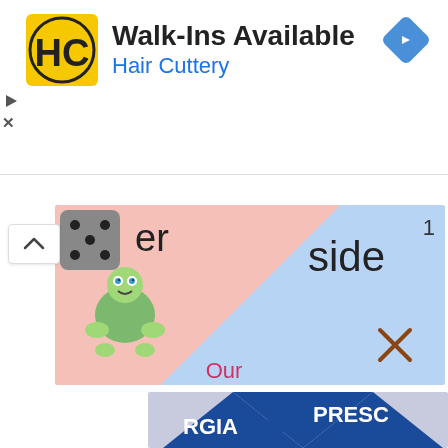[Figure (infographic): Hair Cuttery advertisement banner with HC logo, text 'Walk-Ins Available' and 'Hair Cuttery', navigation icon, play and close buttons]
[Figure (photo): Board game image showing a cartoon turtle, dice, and board squares with text 'er', 'side', and a cross mark]
Our
Sponsor
[Figure (logo): Georgia Preschool association logo - blue triangle/diamond shape with white text 'RGIA PRESC' visible, partial logo]